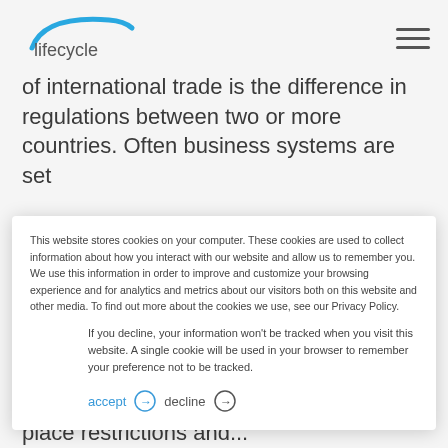lifecycle (logo) + hamburger menu
of international trade is the difference in regulations between two or more countries. Often business systems are set
This website stores cookies on your computer. These cookies are used to collect information about how you interact with our website and allow us to remember you. We use this information in order to improve and customize your browsing experience and for analytics and metrics about our visitors both on this website and other media. To find out more about the cookies we use, see our Privacy Policy.
If you decline, your information won't be tracked when you visit this website. A single cookie will be used in your browser to remember your preference not to be tracked.
accept  decline
quickly, recently many countries have